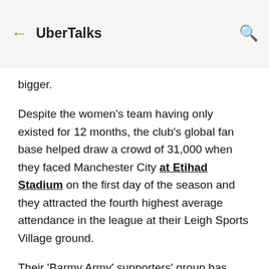UberTalks
bigger.
Despite the women's team having only existed for 12 months, the club's global fan base helped draw a crowd of 31,000 when they faced Manchester City at Etihad Stadium on the first day of the season and they attracted the fourth highest average attendance in the league at their Leigh Sports Village ground.
Their 'Barmy Army' supporters' group has brought "a bit of rivalry and atmosphere" from the men's game, according to Stoney, and it is perhaps no coincidence that the WSL's first season with a title sponsor and an